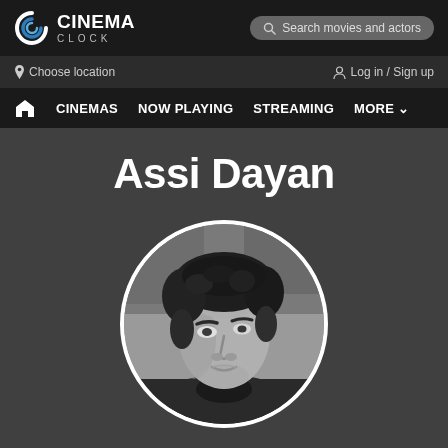Cinema Clock
Search movies and actors
Choose location
Log in / Sign up
CINEMAS  NOW PLAYING  STREAMING  MORE
Assi Dayan
[Figure (photo): Black and white circular portrait photo of Assi Dayan, a man with curly dark hair looking to the side]